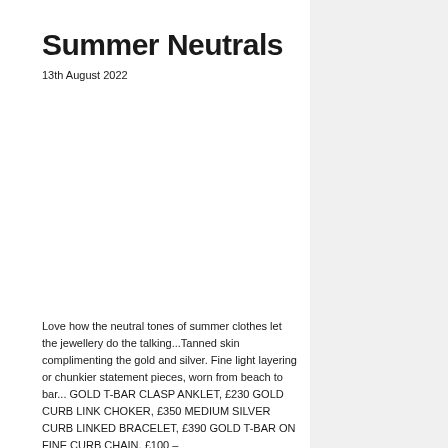Summer Neutrals
13th August 2022
Love how the neutral tones of summer clothes let the jewellery do the talking...Tanned skin complimenting the gold and silver. Fine light layering or chunkier statement pieces, worn from beach to bar... GOLD T-BAR CLASP ANKLET, £230 GOLD CURB LINK CHOKER, £350 MEDIUM SILVER CURB LINKED BRACELET, £390 GOLD T-BAR ON FINE CURB CHAIN, £100 –